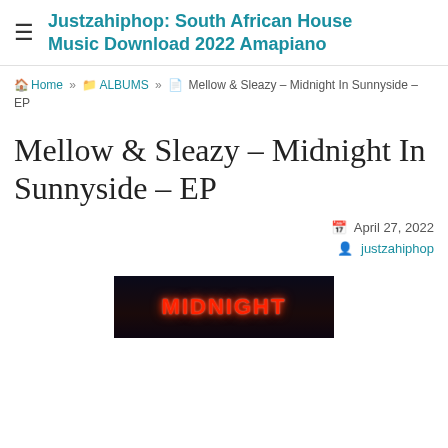Justzahiphop: South African House Music Download 2022 Amapiano
Home » ALBUMS » Mellow & Sleazy – Midnight In Sunnyside – EP
Mellow & Sleazy – Midnight In Sunnyside – EP
April 27, 2022
justzahiphop
[Figure (photo): Album art for Midnight In Sunnyside EP showing red neon text on dark background]